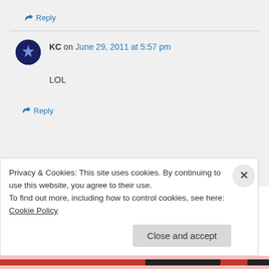↪ Reply
KC on June 29, 2011 at 5:57 pm
LOL
↪ Reply
Things You Realize After You Get Married on June 29, 2011 at 7:03 am
Privacy & Cookies: This site uses cookies. By continuing to use this website, you agree to their use.
To find out more, including how to control cookies, see here: Cookie Policy
Close and accept